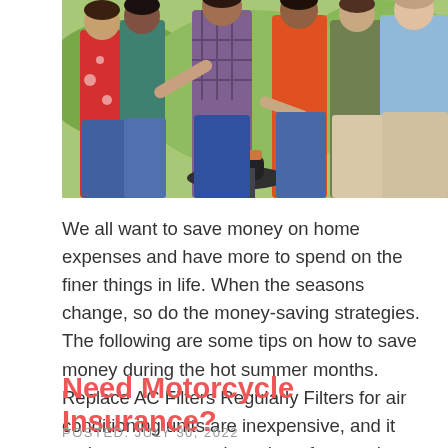[Figure (photo): Group of people gathered around a BBQ grill outdoors, wearing casual summer clothing including a red floral dress, plaid shirt, and light blue shirt]
We all want to save money on home expenses and have more to spend on the finer things in life. When the seasons change, so do the money-saving strategies. The following are some tips on how to save money during the hot summer months. Replace AC Filters Regularly Filters for air conditioning units are inexpensive, and it makes sense to replace them frequently. Dirty air...
Need Motorcycle Insurance?
POSTED: JULY 30, 2022